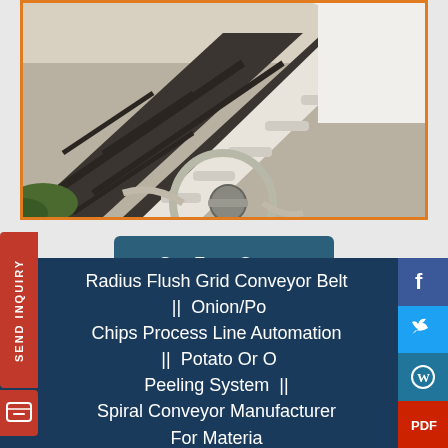[Figure (photo): Close-up photo of an industrial conveyor belt system with metal frame support structure, showing white belt with cleats/flights at an incline angle, with hoses and mechanical components visible at the base.]
Get Free Quote
Radius Flush Grid Conveyor Belt  ||  Onion/Potato Chips Process Line Automation  ||  Potato Or Onion Peeling System  ||  Spiral Conveyor Manufacturer For Material...